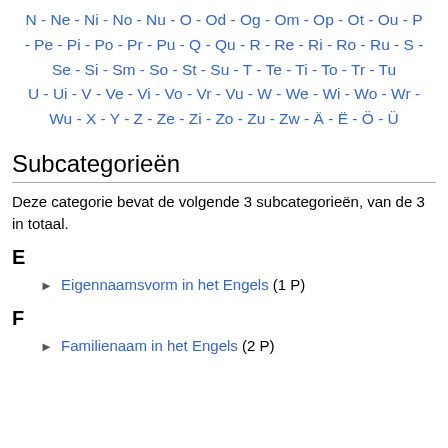N - Ne - Ni - No - Nu - O - Od - Og - Om - Op - Ot - Ou - P - Pe - Pi - Po - Pr - Pu - Q - Qu - R - Re - Ri - Ro - Ru - S - Se - Si - Sm - So - St - Su - T - Te - Ti - To - Tr - Tu - U - Ui - V - Ve - Vi - Vo - Vr - Vu - W - We - Wi - Wo - Wr - Wu - X - Y - Z - Ze - Zi - Zo - Zu - Zw - Ä - Ë - Ö - Ü
Subcategorieën
Deze categorie bevat de volgende 3 subcategorieën, van de 3 in totaal.
E
► Eigennaamsvorm in het Engels (1 P)
F
► Familienaam in het Engels (2 P)